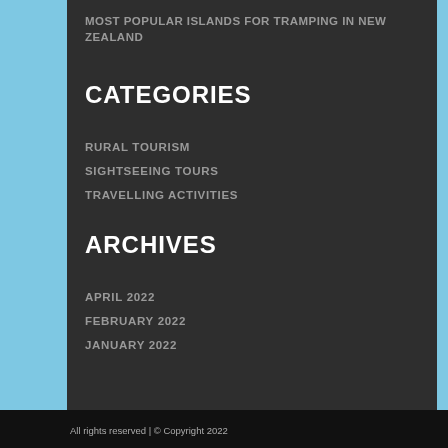MOST POPULAR ISLANDS FOR TRAMPING IN NEW ZEALAND
CATEGORIES
RURAL TOURISM
SIGHTSEEING TOURS
TRAVELLING ACTIVITIES
ARCHIVES
APRIL 2022
FEBRUARY 2022
JANUARY 2022
All rights reserved | © Copyright 2022